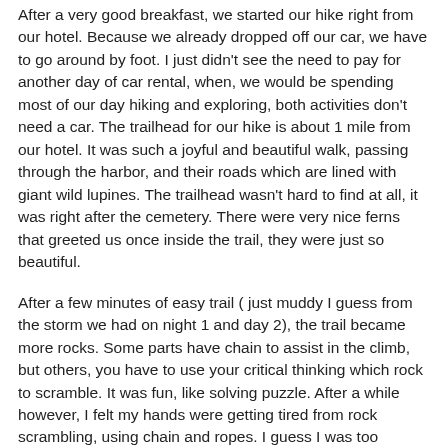After a very good breakfast, we started our hike right from our hotel. Because we already dropped off our car, we have to go around by foot. I just didn't see the need to pay for another day of car rental, when, we would be spending most of our day hiking and exploring, both activities don't need a car. The trailhead for our hike is about 1 mile from our hotel. It was such a joyful and beautiful walk, passing through the harbor, and their roads which are lined with giant wild lupines. The trailhead wasn't hard to find at all, it was right after the cemetery. There were very nice ferns that greeted us once inside the trail, they were just so beautiful.
After a few minutes of easy trail ( just muddy I guess from the storm we had on night 1 and day 2), the trail became more rocks. Some parts have chain to assist in the climb, but others, you have to use your critical thinking which rock to scramble. It was fun, like solving puzzle. After a while however, I felt my hands were getting tired from rock scrambling, using chain and ropes. I guess I was too spoiled in most of the trails in US where hike up is made easier by well groomed trail. Add to that, when we were about 1/4 of our hike, it drizzled. We didn't turn around since we were prepared for the light rain, but we did slow down to be safe